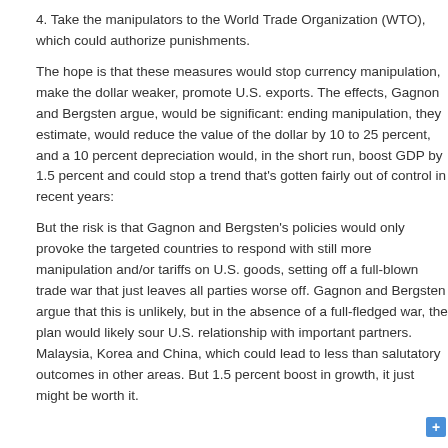4. Take the manipulators to the World Trade Organization (WTO), which could authorize punishments.
The hope is that these measures would stop currency manipulation, make the dollar weaker, promote U.S. exports. The effects, Gagnon and Bergsten argue, would be significant: ending manipulation, they estimate, would reduce the value of the dollar by 10 to 25 percent, and a 10 percent depreciation would, in the short run, boost GDP by 1.5 percent and could stop a trend that's gotten fairly out of control in recent years:
But the risk is that Gagnon and Bergsten's policies would only provoke the targeted countries to respond with still more manipulation and/or tariffs on U.S. goods, setting off a full-blown trade war that just leaves all parties worse off. Gagnon and Bergsten argue that this is unlikely but in the absence of a full-fledged war, the plan would likely sour U.S. relationship with important partners. Malaysia, Korea and China, which could lead to less than salutatory outcomes in other areas. But 1.5 percent boost in growth, it just might be worth it.
12 Responses to “Why We Need A Currency War With China (And Singapore … )"